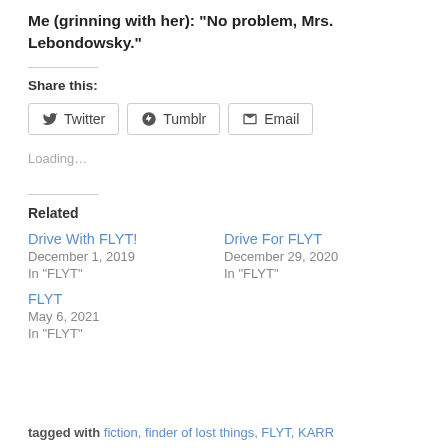Me (grinning with her): “No problem, Mrs. Lebondowsky.”
Share this:
Twitter  Tumblr  Email
Loading…
Related
Drive With FLYT!
December 1, 2019
In "FLYT"
Drive For FLYT
December 29, 2020
In "FLYT"
FLYT
May 6, 2021
In "FLYT"
tagged with fiction, finder of lost things, FLYT, KARR